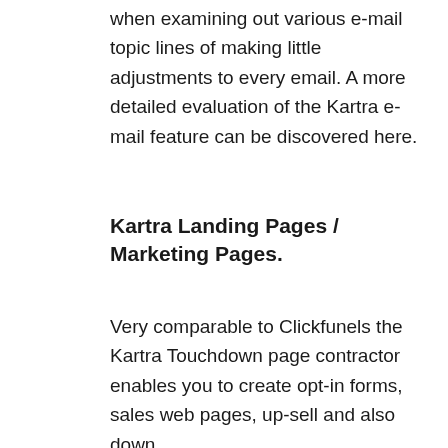when examining out various e-mail topic lines of making little adjustments to every email. A more detailed evaluation of the Kartra e-mail feature can be discovered here.
Kartra Landing Pages / Marketing Pages.
Very comparable to Clickfunels the Kartra Touchdown page contractor enables you to create opt-in forms, sales web pages, up-sell and also down